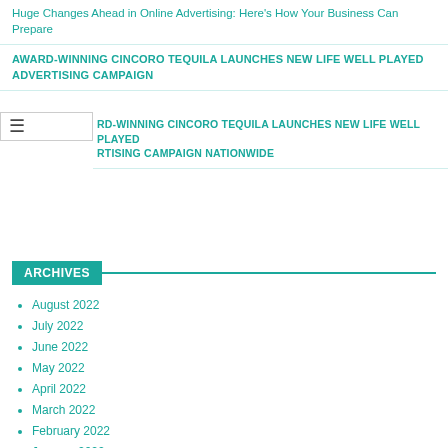Huge Changes Ahead in Online Advertising: Here's How Your Business Can Prepare
AWARD-WINNING CINCORO TEQUILA LAUNCHES NEW LIFE WELL PLAYED ADVERTISING CAMPAIGN
RD-WINNING CINCORO TEQUILA LAUNCHES NEW LIFE WELL PLAYED RTISING CAMPAIGN NATIONWIDE
ARCHIVES
August 2022
July 2022
June 2022
May 2022
April 2022
March 2022
February 2022
January 2022